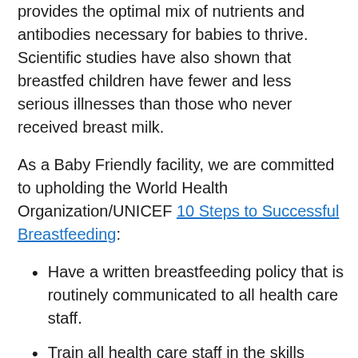provides the optimal mix of nutrients and antibodies necessary for babies to thrive. Scientific studies have also shown that breastfed children have fewer and less serious illnesses than those who never received breast milk.
As a Baby Friendly facility, we are committed to upholding the World Health Organization/UNICEF 10 Steps to Successful Breastfeeding:
Have a written breastfeeding policy that is routinely communicated to all health care staff.
Train all health care staff in the skills necessary to implement this policy.
Inform all pregnant women about the benefits and management of breastfeeding.